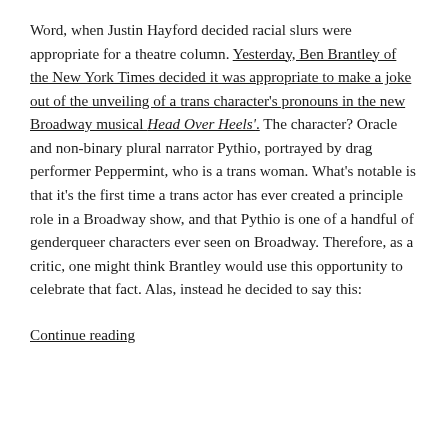Word, when Justin Hayford decided racial slurs were appropriate for a theatre column. Yesterday, Ben Brantley of the New York Times decided it was appropriate to make a joke out of the unveiling of a trans character's pronouns in the new Broadway musical Head Over Heels'. The character? Oracle and non-binary plural narrator Pythio, portrayed by drag performer Peppermint, who is a trans woman. What's notable is that it's the first time a trans actor has ever created a principle role in a Broadway show, and that Pythio is one of a handful of genderqueer characters ever seen on Broadway. Therefore, as a critic, one might think Brantley would use this opportunity to celebrate that fact. Alas, instead he decided to say this:
Continue reading